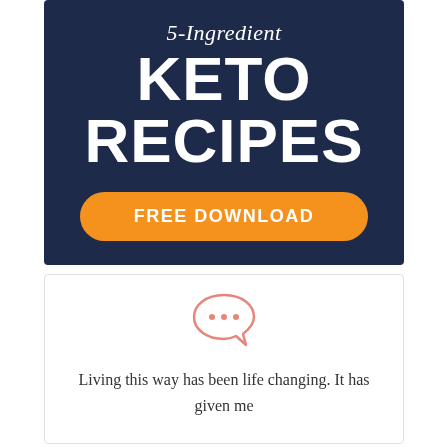5-Ingredient KETO RECIPES
FREE DOWNLOAD
[Figure (illustration): Speech bubble icon with three dots (ellipsis) drawn in salmon/coral outline style]
Living this way has been life changing. It has given me